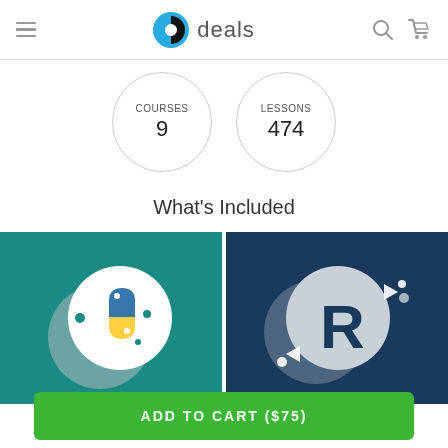b deals
COURSES
9
LESSONS
474
What's Included
[Figure (illustration): Python programming course thumbnail with teal background and Python logo]
[Figure (illustration): R programming course thumbnail with dark blue background and R logo]
ADD TO CART ($75)